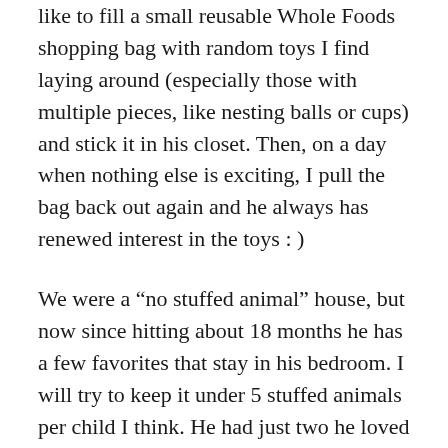like to fill a small reusable Whole Foods shopping bag with random toys I find laying around (especially those with multiple pieces, like nesting balls or cups) and stick it in his closet. Then, on a day when nothing else is exciting, I pull the bag back out again and he always has renewed interest in the toys : )
We were a “no stuffed animal” house, but now since hitting about 18 months he has a few favorites that stay in his bedroom. I will try to keep it under 5 stuffed animals per child I think. He had just two he loved and would bring to bed–then reclaimed a third I found from when he was a baby that I thought I’d give to my new baby, but he remembered it.